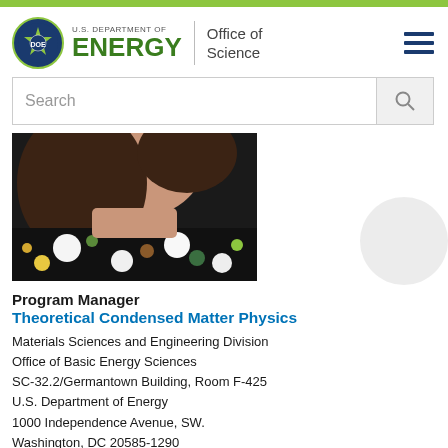[Figure (logo): U.S. Department of Energy Office of Science logo with DOE seal, green ENERGY wordmark, divider, and Office of Science text]
[Figure (screenshot): Search bar input field with placeholder text 'Search' and a search button]
[Figure (photo): Partial photo of a person wearing a black polka-dot shirt with colorful dots, showing neck and lower face area]
Program Manager
Theoretical Condensed Matter Physics
Materials Sciences and Engineering Division
Office of Basic Energy Sciences
SC-32.2/Germantown Building, Room F-425
U.S. Department of Energy
1000 Independence Avenue, SW.
Washington, DC 20585-1290